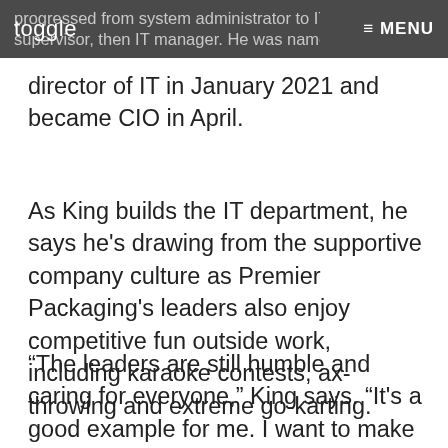toggle  ≡ MENU
progressed from system administrator to IT supervisor, then IT manager. He was named director of IT in January 2021 and became CIO in April.
As King builds the IT department, he says he's drawing from the supportive company culture as Premier Packaging's leaders also enjoy competitive fun outside work, including karaoke contests, ax-throwing and extreme go-karting.
“The leaders are still humble and caring for everyone,” King says. “It's a good example for me. I want to make sure to continue the access and build the culture of a caring, hardworking